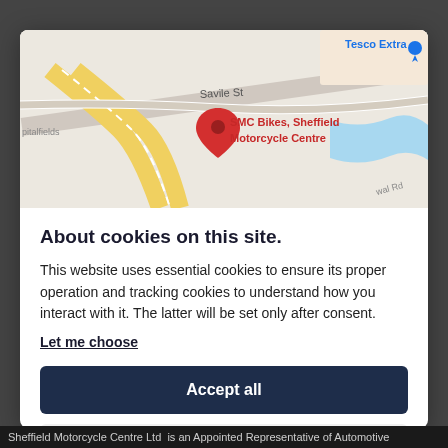[Figure (map): Google Maps view showing SMC Bikes, Sheffield Motorcycle Centre location near Savile St, with yellow roads, a blue waterway, and Tesco Extra label in the upper right. A red pin marks the business location.]
About cookies on this site.
This website uses essential cookies to ensure its proper operation and tracking cookies to understand how you interact with it. The latter will be set only after consent.
Let me choose
Accept all
Reject all
Sheffield Motorcycle Centre Ltd  is an Appointed Representative of Automotive